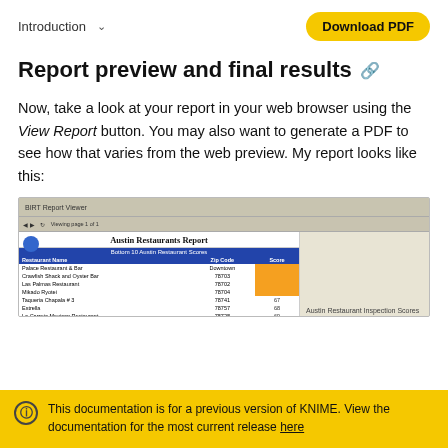Introduction  ∨   Download PDF
Report preview and final results 🔗
Now, take a look at your report in your web browser using the View Report button. You may also want to generate a PDF to see how that varies from the web preview. My report looks like this:
[Figure (screenshot): Screenshot of BIRT Report Viewer showing Austin Restaurants Report with a table listing restaurant names, zip codes, and inspection scores (some highlighted in orange).]
This documentation is for a previous version of KNIME. View the documentation for the most current release here